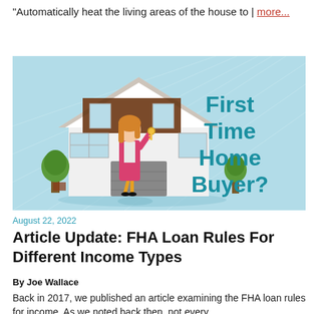“Automatically heat the living areas of the house to | more…
[Figure (illustration): Illustration of a woman holding house keys standing in front of a modern house, with text 'First Time Home Buyer?' on the right side. Light blue background with radiating lines.]
August 22, 2022
Article Update: FHA Loan Rules For Different Income Types
By Joe Wallace
Back in 2017, we published an article examining the FHA loan rules for income. As we noted back then, not every